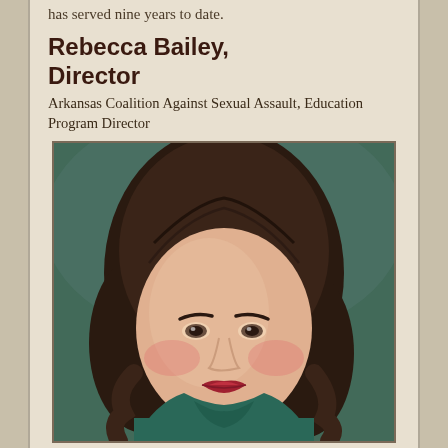has served nine years to date.
Rebecca Bailey, Director
Arkansas Coalition Against Sexual Assault, Education Program Director
[Figure (photo): Professional headshot of Rebecca Bailey, a woman with dark curly hair, wearing a teal top, smiling at camera against a dark teal background]
Rebecca Bailey has spent the past four years serving as Asst. Professor of Theatre at The University of the Ozarks